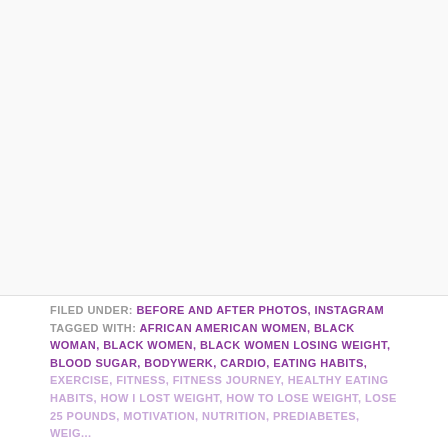[Figure (photo): Large image area (mostly white/blank in this view) occupying upper portion of the page]
FILED UNDER: BEFORE AND AFTER PHOTOS, INSTAGRAM TAGGED WITH: AFRICAN AMERICAN WOMEN, BLACK WOMAN, BLACK WOMEN, BLACK WOMEN LOSING WEIGHT, BLOOD SUGAR, BODYWERK, CARDIO, EATING HABITS, EXERCISE, FITNESS, FITNESS JOURNEY, HEALTHY EATING HABITS, HOW I LOST WEIGHT, HOW TO LOSE WEIGHT, LOSE 25 POUNDS, MOTIVATION, NUTRITION, PREDIABETES, WEIGHT...